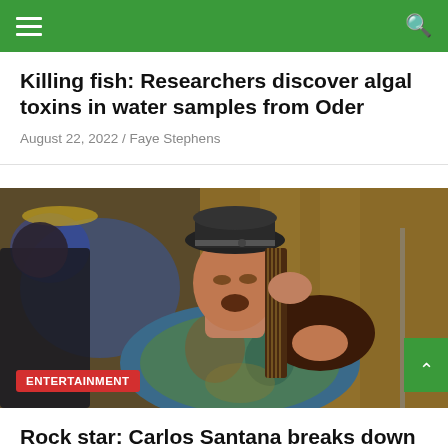Navigation bar with hamburger menu and search icon
Killing fish: Researchers discover algal toxins in water samples from Oder
August 22, 2022 / Faye Stephens
[Figure (photo): A male guitarist performing on stage, wearing a patterned shirt and a black hat, playing guitar with eyes closed. Another musician visible in background. Blue stage lighting.]
Rock star: Carlos Santana breaks down in